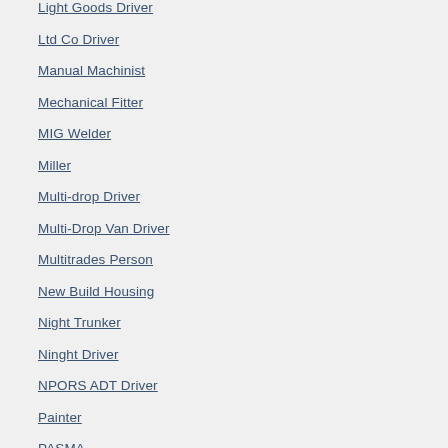Light Goods Driver
Ltd Co Driver
Manual Machinist
Mechanical Fitter
MIG Welder
Miller
Multi-drop Driver
Multi-Drop Van Driver
Multitrades Person
New Build Housing
Night Trunker
Ninght Driver
NPORS ADT Driver
Painter
PASMA
Paver